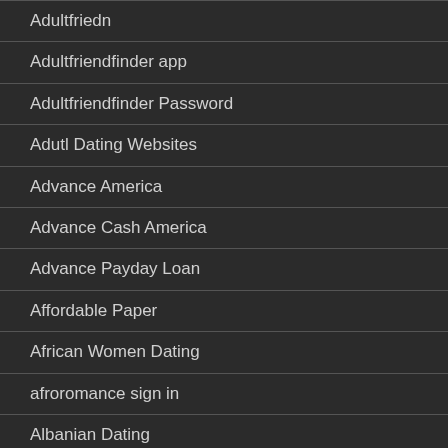Adultfriedn
Adultfriendfinder app
Adultfriendfinder Password
Adutl Dating Websites
Advance America
Advance Cash America
Advance Payday Loan
Affordable Paper
African Women Dating
afroromance sign in
Albanian Dating